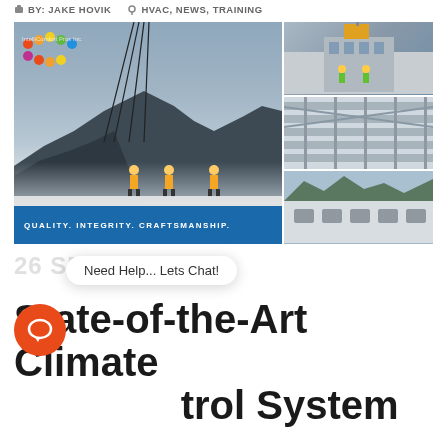BY: JAKE HOVIK   HVAC, NEWS, TRAINING
[Figure (photo): Construction site photo collage: large left photo showing workers on rooftop with mountain backdrop and blue banner reading 'QUALITY. INTEGRITY. CRAFTSMANSHIP.' with colored bubble logo overlay; three smaller right photos showing workers near building, interior ductwork, and aerial view of rooftop HVAC units.]
26 SEP, 2019
Need Help... Lets Chat!
State-of-the-Art Climate Control System